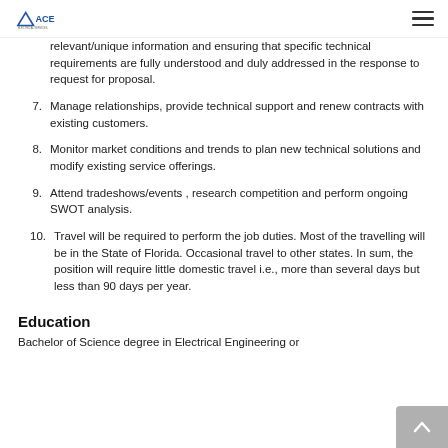ACE logo and navigation menu
relevant/unique information and ensuring that specific technical requirements are fully understood and duly addressed in the response to request for proposal.
7. Manage relationships, provide technical support and renew contracts with existing customers.
8. Monitor market conditions and trends to plan new technical solutions and modify existing service offerings.
9. Attend tradeshows/events , research competition and perform ongoing SWOT analysis.
10. Travel will be required to perform the job duties. Most of the travelling will be in the State of Florida. Occasional travel to other states. In sum, the position will require little domestic travel i.e., more than several days but less than 90 days per year.
Education
Bachelor of Science degree in Electrical Engineering or